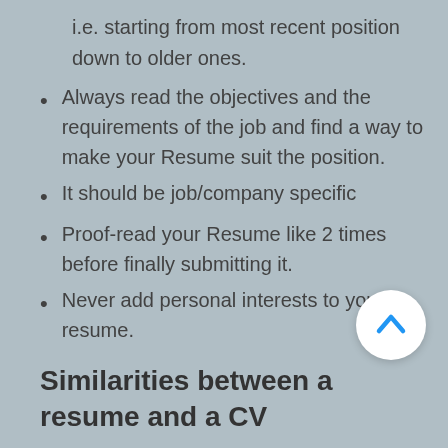i.e. starting from most recent position down to older ones.
Always read the objectives and the requirements of the job and find a way to make your Resume suit the position.
It should be job/company specific
Proof-read your Resume like 2 times before finally submitting it.
Never add personal interests to your resume.
Similarities between a resume and a CV
The two are used interchangeably in different